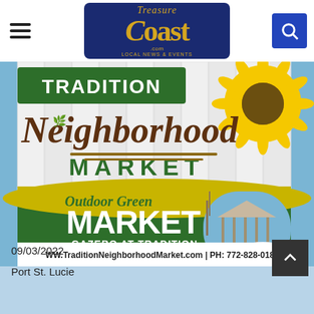Treasure Coast.com Local News & Events
[Figure (photo): Advertisement for Tradition Neighborhood Market - Outdoor Green Market at Gazebo at Tradition, Tradition | Port St Lucie. Website: WW.TraditionNeighborhoodMarket.com | PH: 772-828-018. Sponsored by Mattamy Homes. Features sunflower graphics and gazebo photo.]
09/03/2022
Port St. Lucie